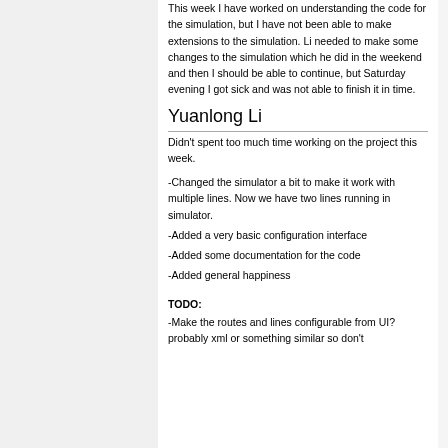This week I have worked on understanding the code for the simulation, but I have not been able to make extensions to the simulation. Li needed to make some changes to the simulation which he did in the weekend and then I should be able to continue, but Saturday evening I got sick and was not able to finish it in time.
Yuanlong Li
Didn't spent too much time working on the project this week.
-Changed the simulator a bit to make it work with multiple lines. Now we have two lines running in simulator.
-Added a very basic configuration interface
-Added some documentation for the code
-Added general happiness
TODO:
-Make the routes and lines configurable from UI? probably xml or something similar so don't